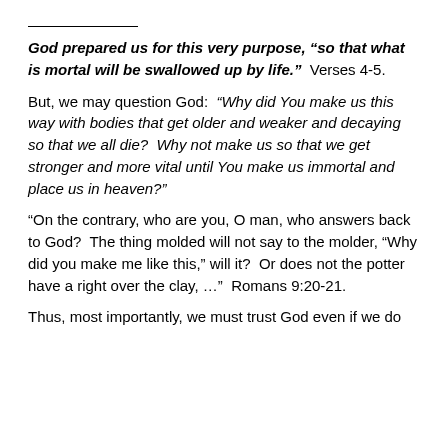God prepared us for this very purpose, “so that what is mortal will be swallowed up by life.”  Verses 4-5.
But, we may question God:  “Why did You make us this way with bodies that get older and weaker and decaying so that we all die?  Why not make us so that we get stronger and more vital until You make us immortal and place us in heaven?”
“On the contrary, who are you, O man, who answers back to God?  The thing molded will not say to the molder, “Why did you make me like this,” will it?  Or does not the potter have a right over the clay, …”  Romans 9:20-21.
Thus, most importantly, we must trust God even if we do